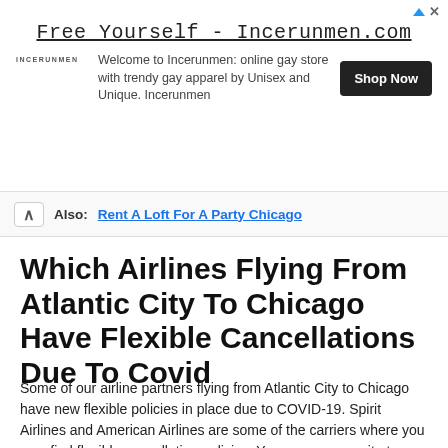[Figure (other): Advertisement banner for Incerunmen.com with title 'Free Yourself - Incerunmen.com', logo, description text, and 'Shop Now' button]
Also: Rent A Loft For A Party Chicago
Which Airlines Flying From Atlantic City To Chicago Have Flexible Cancellations Due To Covid
Some of our airline partners flying from Atlantic City to Chicago have new flexible policies in place due to COVID-19. Spirit Airlines and American Airlines are some of the carriers where you may find flexible cancellation policies. You can use our site to filter for airlines like Spirit Airlines with this kind of flexibility.